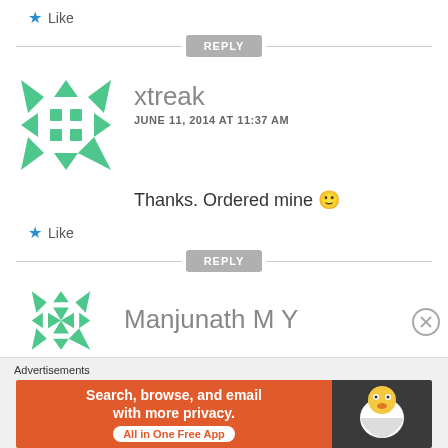Like
[Figure (other): Reply button with horizontal divider lines on each side]
[Figure (logo): xtreak user avatar - green geometric snowflake/asterisk pattern]
xtreak
JUNE 11, 2014 AT 11:37 AM
Thanks. Ordered mine 🙂
Like
[Figure (other): Reply button with horizontal divider lines on each side]
[Figure (logo): Manjunath MY user avatar - green geometric pattern]
Manjunath M Y
Advertisements
[Figure (other): DuckDuckGo advertisement banner: Search, browse, and email with more privacy. All in One Free App]